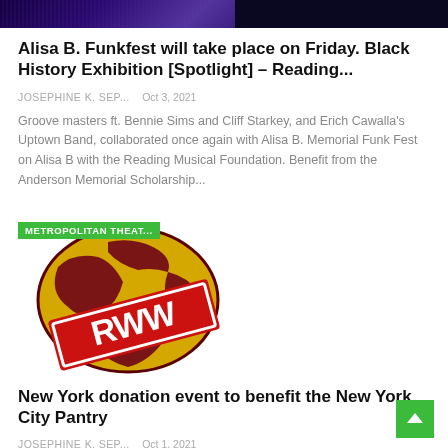[Figure (photo): Partial top image showing a dark-toned concert or performance scene]
Alisa B. Funkfest will take place on Friday. Black History Exhibition [Spotlight] – Reading...
JOSEPHINE K. SEP...   Oct 3, 2021
Groove masters ft. Bennie Sims and Cliff Starkey, and Erich Cawalla's Uptown Band, collaborated once again with Alisa B. Memorial Funk Fest on Alisa B with the Reading Musical Foundation. Benefit from the Anderson Memorial Scholarship...
[Figure (logo): RWW globe logo with green METROPOLITAN THEAT... badge overlay]
New York donation event to benefit the New York City Pantry
JOSEPHINE K. SEP...   Oct 1, 2021